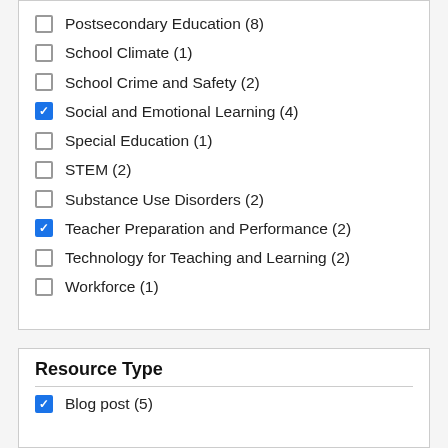Postsecondary Education (8)
School Climate (1)
School Crime and Safety (2)
Social and Emotional Learning (4) [checked]
Special Education (1)
STEM (2)
Substance Use Disorders (2)
Teacher Preparation and Performance (2) [checked]
Technology for Teaching and Learning (2)
Workforce (1)
Resource Type
Blog post (5) [checked]